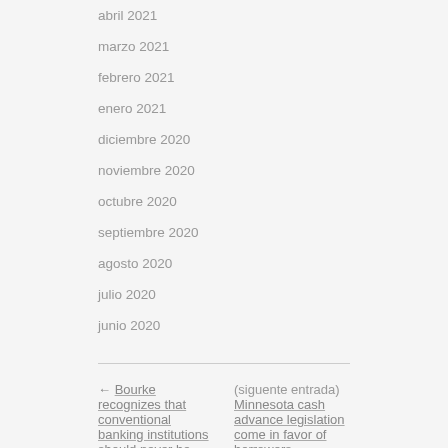abril 2021
marzo 2021
febrero 2021
enero 2021
diciembre 2020
noviembre 2020
octubre 2020
septiembre 2020
agosto 2020
julio 2020
junio 2020
← Bourke recognizes that conventional banking institutions should never be going to be available 24/7 in these communities. (entrada anterior)
(siguente entrada) Minnesota cash advance legislation come in favor of borrowers. →